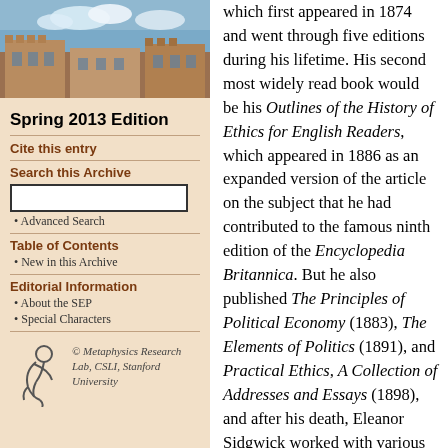[Figure (photo): Aerial or frontal photo of a university building (stone construction) with blue sky and clouds]
Spring 2013 Edition
Cite this entry
Search this Archive
Advanced Search
Table of Contents
New in this Archive
Editorial Information
About the SEP
Special Characters
[Figure (logo): Metaphysics Research Lab, CSLI, Stanford University logo with stylized figure]
which first appeared in 1874 and went through five editions during his lifetime. His second most widely read book would be his Outlines of the History of Ethics for English Readers, which appeared in 1886 as an expanded version of the article on the subject that he had contributed to the famous ninth edition of the Encyclopedia Britannica. But he also published The Principles of Political Economy (1883), The Elements of Politics (1891), and Practical Ethics, A Collection of Addresses and Essays (1898), and after his death, Eleanor Sidgwick worked with various of his former colleagues to